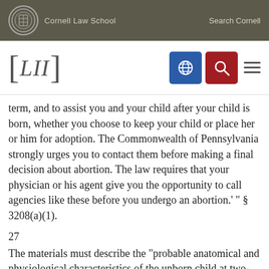Cornell Law School   Search Cornell
[Figure (logo): LII Legal Information Institute logo with navigation icons]
term, and to assist you and your child after your child is born, whether you choose to keep your child or place her or him for adoption. The Commonwealth of Pennsylvania strongly urges you to contact them before making a final decision about abortion. The law requires that your physician or his agent give you the opportunity to call agencies like these before you undergo an abortion.' " § 3208(a)(1).
27
The materials must describe the "probable anatomical and physiological characteristics of the unborn child at two-week gestational increments from fertilization to full term, including any relevant